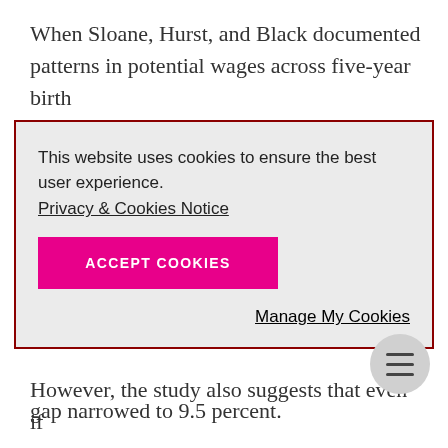When Sloane, Hurst, and Black documented patterns in potential wages across five-year birth
This website uses cookies to ensure the best user experience.
Privacy & Cookies Notice
ACCEPT COOKIES
Manage My Cookies
gap narrowed to 9.5 percent.
However, the study also suggests that even if